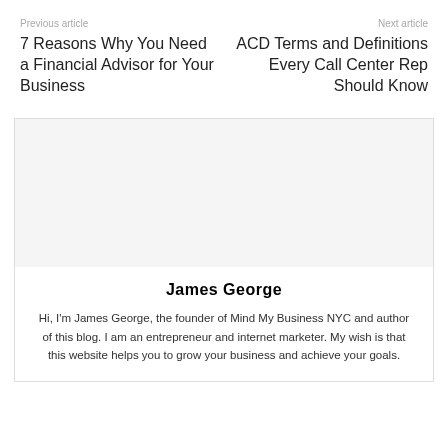Previous article
Next article
7 Reasons Why You Need a Financial Advisor for Your Business
ACD Terms and Definitions Every Call Center Rep Should Know
James George
Hi, I'm James George, the founder of Mind My Business NYC and author of this blog. I am an entrepreneur and internet marketer. My wish is that this website helps you to grow your business and achieve your goals.